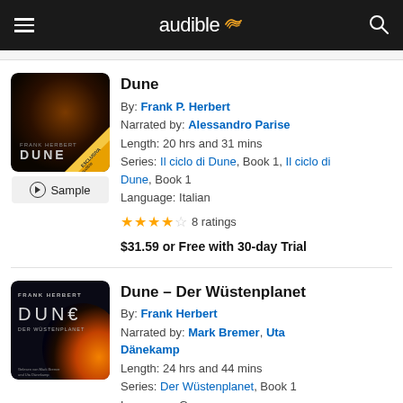audible
Dune
By: Frank P. Herbert
Narrated by: Alessandro Parise
Length: 20 hrs and 31 mins
Series: Il ciclo di Dune, Book 1, Il ciclo di Dune, Book 1
Language: Italian
8 ratings
$31.59 or Free with 30-day Trial
Dune - Der Wüstenplanet
By: Frank Herbert
Narrated by: Mark Bremer, Uta Dänekamp
Length: 24 hrs and 44 mins
Series: Der Wüstenplanet, Book 1
Language: German